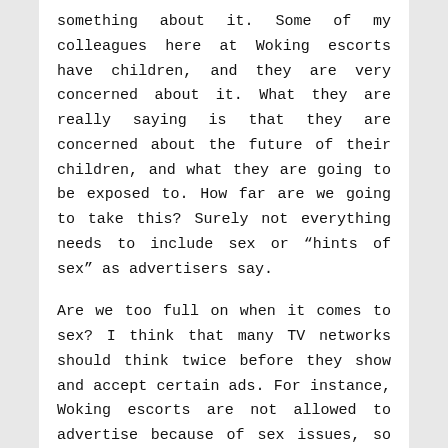something about it. Some of my colleagues here at Woking escorts have children, and they are very concerned about it. What they are really saying is that they are concerned about the future of their children, and what they are going to be exposed to. How far are we going to take this? Surely not everything needs to include sex or “hints of sex” as advertisers say.

Are we too full on when it comes to sex? I think that many TV networks should think twice before they show and accept certain ads. For instance, Woking escorts are not allowed to advertise because of sex issues, so why should we have sexy adverts before 6 pm? There is a lot of controversy here, but I honestly think that there should be a lot stricter rules. We now have online